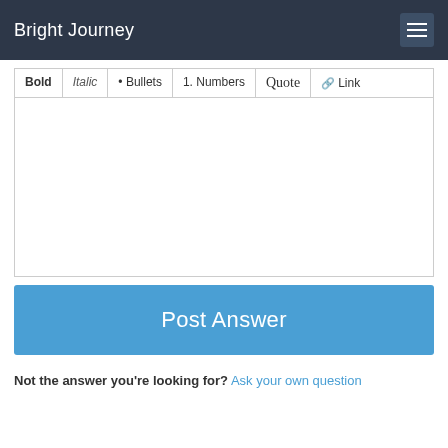Bright Journey
[Figure (screenshot): Rich text editor toolbar with buttons: Bold, Italic, Bullets, Numbers, Quote, Link]
[Figure (screenshot): Empty text editor/textarea area with white background and grey border]
[Figure (screenshot): Blue 'Post Answer' button]
Not the answer you're looking for? Ask your own question